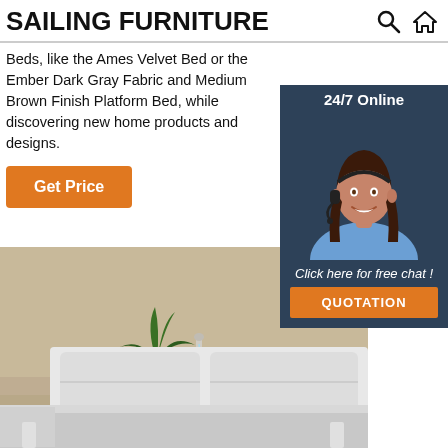SAILING FURNITURE
Beds, like the Ames Velvet Bed or the Ember Dark Gray Fabric and Medium Brown Finish Platform Bed, while discovering new home products and designs.
[Figure (other): Orange 'Get Price' button]
[Figure (infographic): 24/7 Online chat widget with woman wearing headset, 'Click here for free chat!' text, and orange QUOTATION button]
[Figure (photo): Modern bedroom scene with a white platform bed with gray mattress, potted plant, and neutral beige walls]